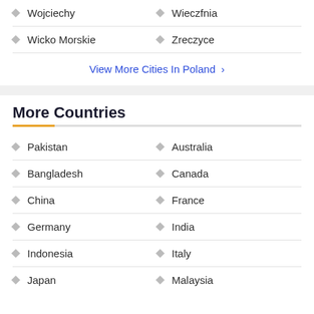Wojciechy | Wieczfnia
Wicko Morskie | Zreczyce
View More Cities In Poland >
More Countries
Pakistan | Australia
Bangladesh | Canada
China | France
Germany | India
Indonesia | Italy
Japan | Malaysia